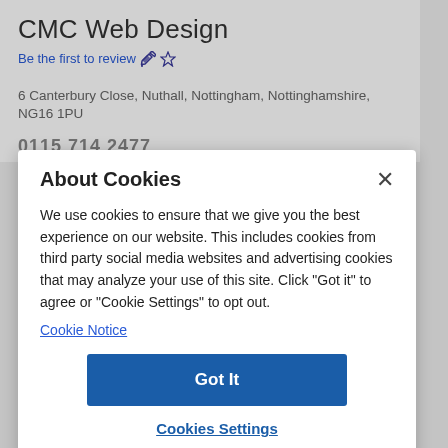CMC Web Design
Be the first to review
6 Canterbury Close, Nuthall, Nottingham, Nottinghamshire, NG16 1PU
0115 714 2477
About Cookies
We use cookies to ensure that we give you the best experience on our website. This includes cookies from third party social media websites and advertising cookies that may analyze your use of this site. Click "Got it" to agree or "Cookie Settings" to opt out.
Cookie Notice
Got It
Cookies Settings